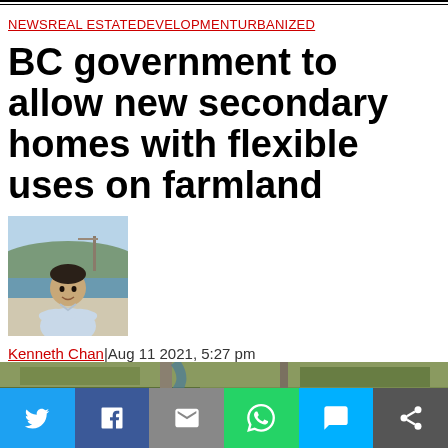NEWSREAL ESTATEDEVELOPMENTURBANIZED
BC government to allow new secondary homes with flexible uses on farmland
[Figure (photo): Author photo of Kenneth Chan, a young Asian man in a light blue shirt standing outdoors with a marina/harbour background]
Kenneth Chan|Aug 11 2021, 5:27 pm
[Figure (photo): Aerial view of farmland with roads and fields visible from above]
[Figure (other): Social sharing bar with Twitter, Facebook, Email, WhatsApp, SMS, and Share buttons]